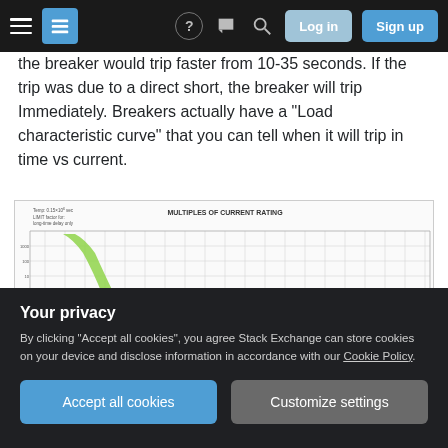Stack Exchange navigation bar with hamburger menu, logo, help, chat, search, Log in, Sign up
the breaker would trip faster from 10-35 seconds. If the trip was due to a direct short, the breaker will trip Immediately. Breakers actually have a "Load characteristic curve" that you can tell when it will trip in time vs current.
[Figure (continuous-plot): Load characteristic curve chart showing time vs multiples of current rating. A green shaded band curves steeply from upper left to lower right on log-log graph paper. Title reads 'MULTIPLES OF CURRENT RATING'. Y-axis shows time in seconds, X-axis shows multiples of current rating.]
Your privacy
By clicking "Accept all cookies", you agree Stack Exchange can store cookies on your device and disclose information in accordance with our Cookie Policy.